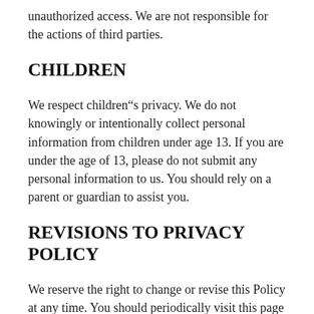unauthorized access. We are not responsible for the actions of third parties.
CHILDREN
We respect children"s privacy. We do not knowingly or intentionally collect personal information from children under age 13. If you are under the age of 13, please do not submit any personal information to us. You should rely on a parent or guardian to assist you.
REVISIONS TO PRIVACY POLICY
We reserve the right to change or revise this Policy at any time. You should periodically visit this page to determine the current Privacy Policy Your continued use of our websites, following the posting of changes to this Privacy Policy, will signify your acceptance of those changes.